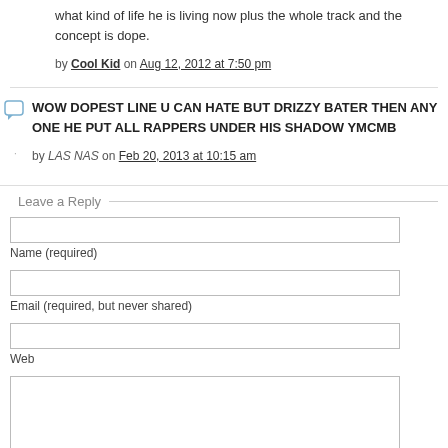what kind of life he is living now plus the whole track and the concept is dope.
by Cool Kid on Aug 12, 2012 at 7:50 pm
WOW DOPEST LINE U CAN HATE BUT DRIZZY BATER THEN ANY ONE HE PUT ALL RAPPERS UNDER HIS SHADOW YMCMB
by LAS NAS on Feb 20, 2013 at 10:15 am
Leave a Reply
Name (required)
Email (required, but never shared)
Web